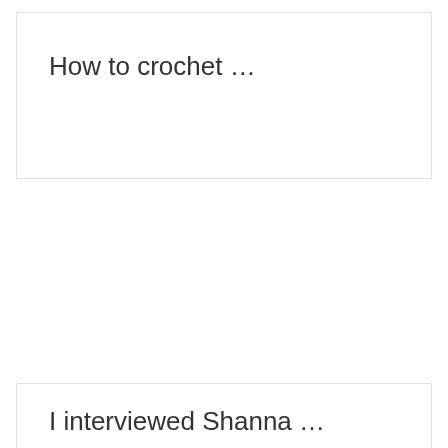How to crochet …
I interviewed Shanna …